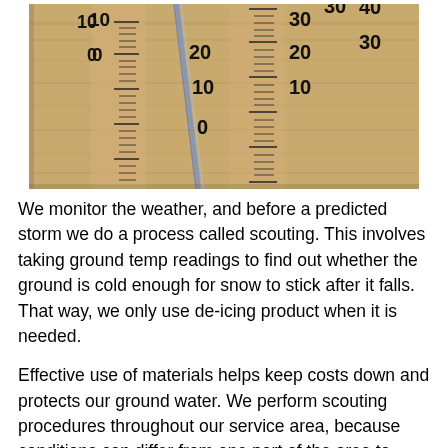[Figure (photo): A close-up photograph of a wooden thermometer showing temperature scales, with a blue glass tube visible against the wooden background. Numbers visible include 0, 10, 20, 30, 40 on dual scales.]
We monitor the weather, and before a predicted storm we do a process called scouting. This involves taking ground temp readings to find out whether the ground is cold enough for snow to stick after it falls. That way, we only use de-icing product when it is needed.
Effective use of materials helps keep costs down and protects our ground water. We perform scouting procedures throughout our service area, because conditions can differ from one part of the area to